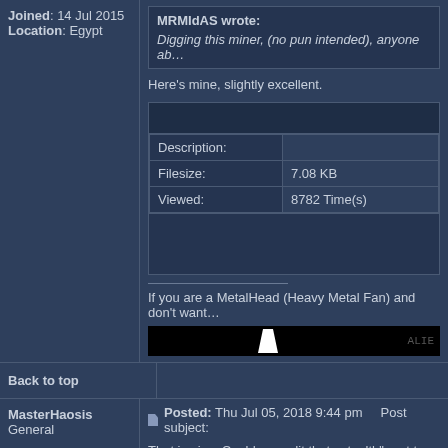Joined: 14 Jul 2015
Location: Egypt
MRMIdAS wrote:
Digging this miner, (no pun intended), anyone ab…
Here's mine, slightly excellent.
| Description: |  |
| --- | --- |
| Filesize: | 7.08 KB |
| Viewed: | 8782 Time(s) |
If you are a MetalHead (Heavy Metal Fan) and don't want…
[Figure (illustration): Black banner image with white shape and ALIE text on right]
Back to top
MasterHaosis
General
Joined: 01 Nov 2010
Location: Serbia
Posted: Thu Jul 05, 2018 9:44 pm    Post subject:
That is nice. Could you edit that ,,stealth" part to have dril…